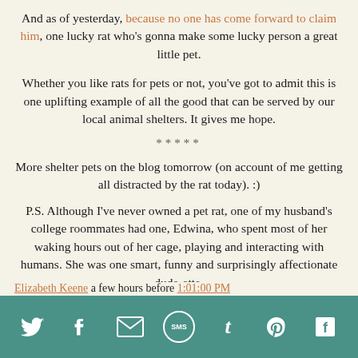And as of yesterday, because no one has come forward to claim him, one lucky rat who's gonna make some lucky person a great little pet.
Whether you like rats for pets or not, you've got to admit this is one uplifting example of all the good that can be served by our local animal shelters. It gives me hope.
*****
More shelter pets on the blog tomorrow (on account of me getting all distracted by the rat today). :)
P.S. Although I've never owned a pet rat, one of my husband's college roommates had one, Edwina, who spent most of her waking hours out of her cage, playing and interacting with humans. She was one smart, funny and surprisingly affectionate dude-ette.
Elizabeth Keene a few hours before 1:01:00 PM
[Figure (infographic): Social sharing icon bar with teal background containing icons for Twitter (bird), Facebook (f), Email (envelope), SMS (circle with 'sms'), Tumblr (t), Pinterest (p), and Flipboard (f square)]